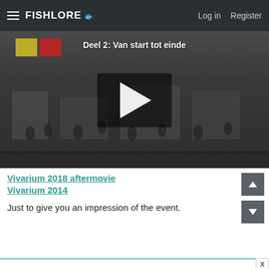FishLore  Log in  Register
[Figure (screenshot): Video thumbnail showing an indoor event/exhibition hall with crowd of people. Text overlay reads 'Deel 2: Van start tot einde'. A play button is centered on the video.]
Vivarium 2018 aftermovie
Vivarium 2014
Just to give you an impression of the event.